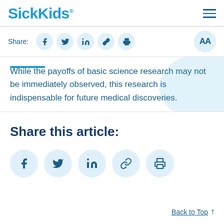SickKids
Share:
While the payoffs of basic science research may not be immediately observed, this research is indispensable for future medical discoveries.
Share this article:
Back to Top ↑